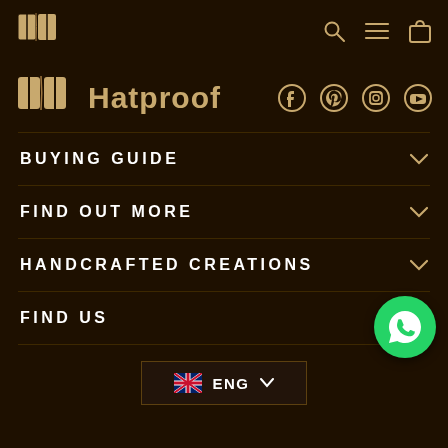[Figure (screenshot): Hatproof website navigation menu on dark brown background with logo, social icons, expandable menu sections, WhatsApp button, and language selector]
Hatproof logo and navigation icons (search, menu, cart)
Hatproof
BUYING GUIDE
FIND OUT MORE
HANDCRAFTED CREATIONS
FIND US
ENG